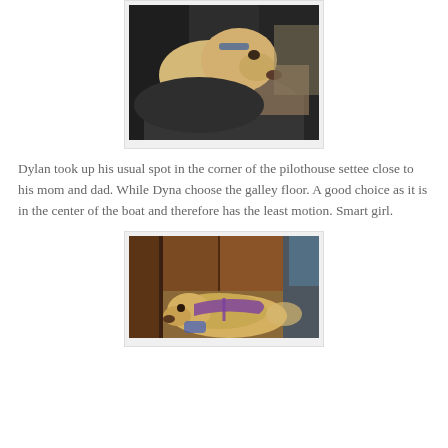[Figure (photo): A yellow Labrador dog resting its head on a dark cushion/pillow on a black leather settee/couch in a pilothouse. The dog is looking at the camera.]
Dylan took up his usual spot in the corner of the pilothouse settee close to his mom and dad. While Dyna choose the galley floor. A good choice as it is in the center of the boat and therefore has the least motion. Smart girl.
[Figure (photo): A yellow Labrador dog lying on the floor of a boat galley, wearing a purple harness/leash. The dog is resting on wooden flooring surrounded by wooden cabinetry.]